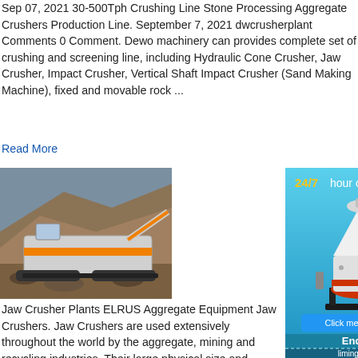Sep 07, 2021 30-500Tph Crushing Line Stone Processing Aggregate Crushers Production Line. September 7, 2021 dwcrusherplant Comments 0 Comment. Dewo machinery can provides complete set of crushing and screening line, including Hydraulic Cone Crusher, Jaw Crusher, Impact Crusher, Vertical Shaft Impact Crusher (Sand Making Machine), fixed and movable rock ...
Read More
[Figure (photo): Photo of a mobile jaw crusher plant with orange and white colors on a rocky terrain with a hillside in the background.]
[Figure (infographic): Blue sidebar advertisement showing '24/7 hour online' text, an image of a white cone crusher machine, a 'Click me to chat>>' button, an 'Enquiry' button, and 'limingjlmofen' text at the bottom.]
Jaw Crusher Plants ELRUS Aggregate Equipment Jaw Crushers. Jaw Crushers are used extensively throughout the world by the aggregate, mining and recycling industries. Their large physical size and rectangular feed opening allow them to receive a larger feed size than most other crushers. Rugged construction, simplicity o